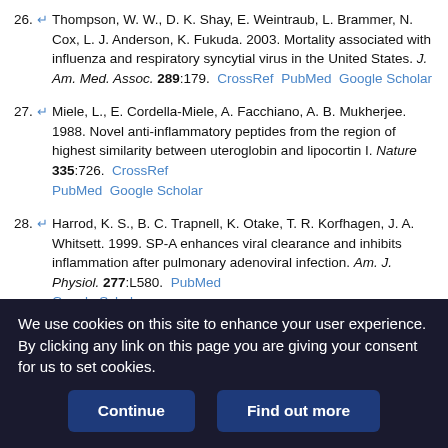26. Thompson, W. W., D. K. Shay, E. Weintraub, L. Brammer, N. Cox, L. J. Anderson, K. Fukuda. 2003. Mortality associated with influenza and respiratory syncytial virus in the United States. J. Am. Med. Assoc. 289:179. CrossRef PubMed Google Scholar
27. Miele, L., E. Cordella-Miele, A. Facchiano, A. B. Mukherjee. 1988. Novel anti-inflammatory peptides from the region of highest similarity between uteroglobin and lipocortin I. Nature 335:726. CrossRef PubMed Google Scholar
28. Harrod, K. S., B. C. Trapnell, K. Otake, T. R. Korfhagen, J. A. Whitsett. 1999. SP-A enhances viral clearance and inhibits inflammation after pulmonary adenoviral infection. Am. J. Physiol. 277:L580. PubMed Google Scholar
29. LeVine, A. M., K. E. Kurak, M. D. Bruno, J. M. Stark, J. A. Whitsett, T. R. Korfhagen. 1998. Surfactant protein-A-deficient mice are susceptible...
We use cookies on this site to enhance your user experience. By clicking any link on this page you are giving your consent for us to set cookies.